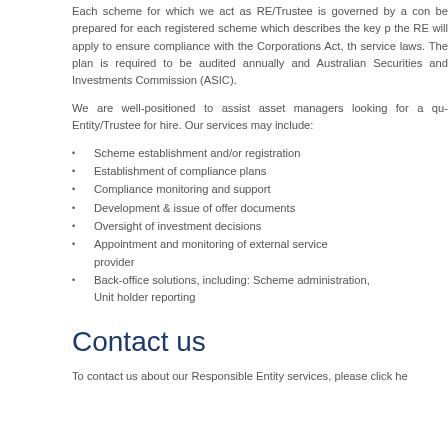Each scheme for which we act as RE/Trustee is governed by a compliance plan which must be prepared for each registered scheme which describes the key processes and controls that the RE will apply to ensure compliance with the Corporations Act, the scheme's constitution and service laws. The plan is required to be audited annually and a copy lodged with the Australian Securities and Investments Commission (ASIC).
We are well-positioned to assist asset managers looking for a quality Responsible Entity/Trustee for hire. Our services may include:
Scheme establishment and/or registration
Establishment of compliance plans
Compliance monitoring and support
Development & issue of offer documents
Oversight of investment decisions
Appointment and monitoring of external service providers
Back-office solutions, including: Scheme administration, Unit holder reporting
Contact us
To contact us about our Responsible Entity services, please click he